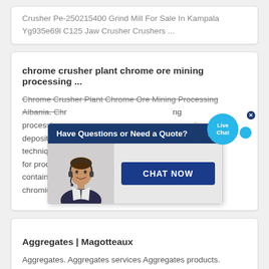Crusher Pe-250215400 Grind Mill For Sale In Kampala Yg935e69l C125 Jaw Crusher Crushers ...
chrome crusher plant chrome ore mining processing ...
Chrome Crusher Plant Chrome Ore Mining Processing Albania. Chrome ore mining processing Albania. Chrome ore mining processing chromite deposits are surface techniquesu sed directly for production ore containing more than 46 percent cr2o3 and having a chromiumiron ratio greater than
[Figure (screenshot): Live chat popup overlay with header 'Have Questions or Need a Quote?', an image of a customer service representative with headset, and a 'CHAT NOW' button. A blue 'Live Chat' speech bubble appears in the top right corner.]
Aggregates | Magotteaux
Aggregates. Aggregates services Aggregates products.